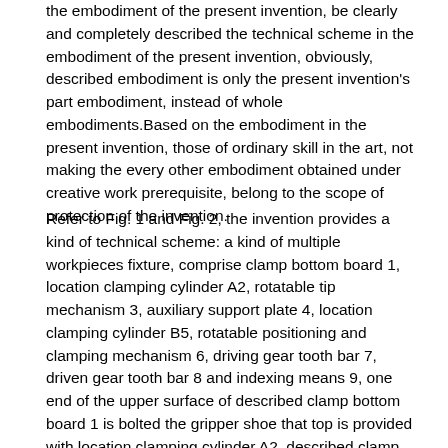the embodiment of the present invention, be clearly and completely described the technical scheme in the embodiment of the present invention, obviously, described embodiment is only the present invention's part embodiment, instead of whole embodiments.Based on the embodiment in the present invention, those of ordinary skill in the art, not making the every other embodiment obtained under creative work prerequisite, belong to the scope of protection of the invention.
Refer to Fig. 1 and Fig. 2, the invention provides a kind of technical scheme: a kind of multiple workpieces fixture, comprise clamp bottom board 1, location clamping cylinder A2, rotatable tip mechanism 3, auxiliary support plate 4, location clamping cylinder B5, rotatable positioning and clamping mechanism 6, driving gear tooth bar 7, driven gear tooth bar 8 and indexing means 9, one end of the upper surface of described clamp bottom board 1 is bolted the gripper shoe that top is provided with location clamping cylinder A2, described clamp bottom board 1 upper surface is bolted described auxiliary support plate 4, described clamp bottom board 1 upper surface is provided with at the edge being positioned at described auxiliary support plate 4, described clamp bottom board 1 upper surface is provided with at the